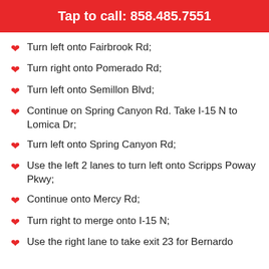Tap to call: 858.485.7551
Turn left onto Fairbrook Rd;
Turn right onto Pomerado Rd;
Turn left onto Semillon Blvd;
Continue on Spring Canyon Rd. Take I-15 N to Lomica Dr;
Turn left onto Spring Canyon Rd;
Use the left 2 lanes to turn left onto Scripps Poway Pkwy;
Continue onto Mercy Rd;
Turn right to merge onto I-15 N;
Use the right lane to take exit 23 for Bernardo